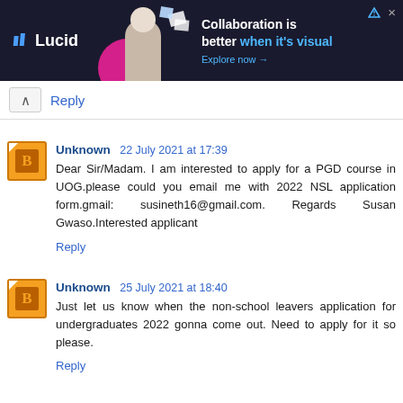[Figure (other): Lucid advertisement banner with dark background, woman figure, pink circle, and text: Collaboration is better when it's visual. Explore now →]
Reply
Unknown 22 July 2021 at 17:39
Dear Sir/Madam. I am interested to apply for a PGD course in UOG.please could you email me with 2022 NSL application form.gmail: susineth16@gmail.com. Regards Susan Gwaso.Interested applicant
Reply
Unknown 25 July 2021 at 18:40
Just let us know when the non-school leavers application for undergraduates 2022 gonna come out. Need to apply for it so please.
Reply